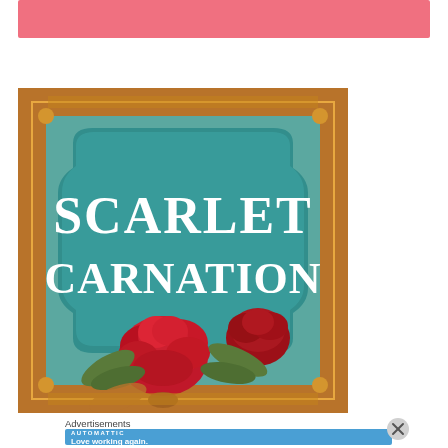[Figure (illustration): Pink/salmon colored banner strip at top of page]
[Figure (photo): Book cover for 'Scarlet Carnation' showing ornate gold frame with teal/turquoise background, large white serif title text reading 'SCARLET CARNATION', and red carnation flowers with green leaves in the foreground]
Advertisements
[Figure (screenshot): Blue advertisement banner for Automattic with text 'Love working again.']